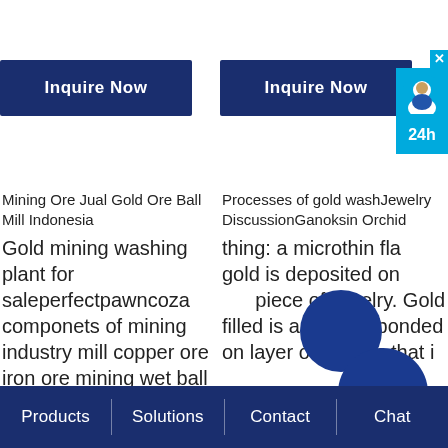[Figure (screenshot): Two dark blue 'Inquire Now' buttons side by side]
[Figure (infographic): Chat widget with close X button, avatar icon, and '24h' label in cyan/blue]
Mining Ore Jual Gold Ore Ball Mill Indonesia
Processes of gold washJewelry DiscussionGanoksin Orchid
Gold mining washing plant for saleperfectpawncoza componets of mining industry mill copper ore iron ore mining wet ball mill
thing: a microthin flake of gold is deposited onto the piece of jewelry. Gold filled is a heavier bonded on layer of gold, in that i
Products | Solutions | Contact | Chat